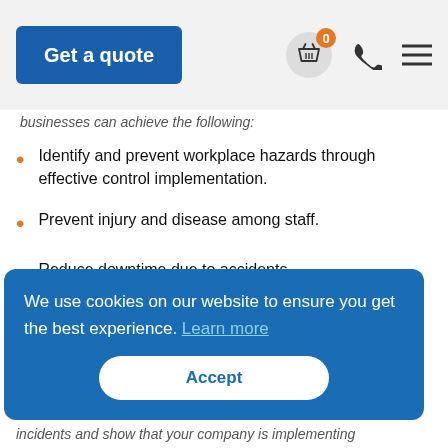Get a quote
businesses can achieve the following:
Identify and prevent workplace hazards through effective control implementation.
Prevent injury and disease among staff.
Reduce downtime due to accidents.
Ensure compliance with legislative requirements.
We use cookies on our website to ensure you get the best experience. Learn more
Accept
incidents and show that your company is implementing